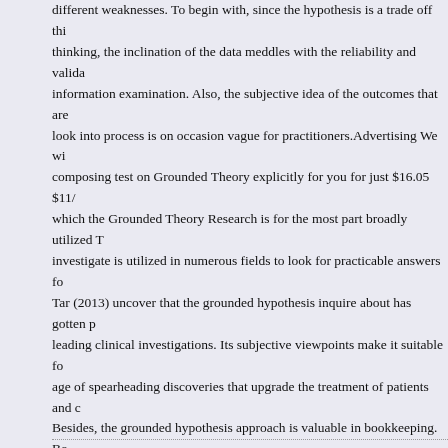different weaknesses. To begin with, since the hypothesis is a trade off thinking, the inclination of the data meddles with the reliability and validation information examination. Also, the subjective idea of the outcomes that are look into process is on occasion vague for practitioners.Advertising We will composing test on Grounded Theory explicitly for you for just $16.05 $11/p which the Grounded Theory Research is for the most part broadly utilized T investigate is utilized in numerous fields to look for practicable answers for Tar (2013) uncover that the grounded hypothesis inquire about has gotten p leading clinical investigations. Its subjective viewpoints make it suitable fo age of spearheading discoveries that upgrade the treatment of patients and c Besides, the grounded hypothesis approach is valuable in bookkeeping. Boo thinking to accumulate and examine coded information. It empowers them through the control of bookkeeping information. Bookkeeping rehearses re complex data from business reports. The examination of such data requires strategies, for example, the grounded hypothesis look into. Reference List C Subjective Inquiry and Research Design: Choosing Among Five Approache Publications. Lawrence, J., Tar, U. (2013). The utilization of Grounded The Tool for Qualitative Data Collection and Analysis. Electronic Journal of Bu 11(1), 29-40. This basic composition on Grounded Theory was composed a Karlee O. to help you with your own investigations. You are allowed to util reference purposes so as to compose your own paper; in any case, you shou You can give your paper here.